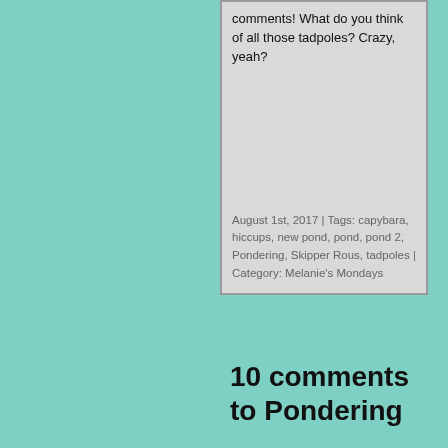comments! What do you think of all those tadpoles? Crazy, yeah?
August 1st, 2017 | Tags: capybara, hiccups, new pond, pond, pond 2, Pondering, Skipper Rous, tadpoles | Category: Melanie's Mondays
10 comments to Pondering
Mike
August 2, 2017 at 3:47